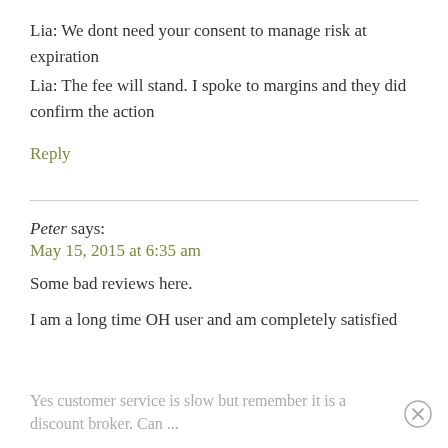Lia: We dont need your consent to manage risk at expiration
Lia: The fee will stand. I spoke to margins and they did confirm the action
Reply
Peter says:
May 15, 2015 at 6:35 am
Some bad reviews here.
I am a long time OH user and am completely satisfied
Yes customer service is slow but remember it is a discount broker. Can ...